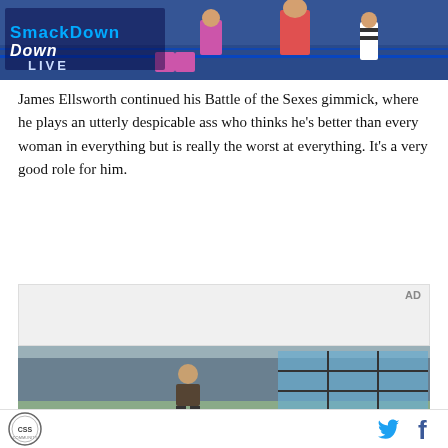[Figure (photo): WWE SmackDown Live wrestling match photo showing wrestlers in a ring with the SmackDown Live logo overlaid in the top-left corner]
James Ellsworth continued his Battle of the Sexes gimmick, where he plays an utterly despicable ass who thinks he’s better than every woman in everything but is really the worst at everything. It’s a very good role for him.
[Figure (photo): Advertisement section with AD label and a corridor/hallway scene photo below showing a person and building windows]
CSS logo icon, Twitter bird icon, Facebook f icon